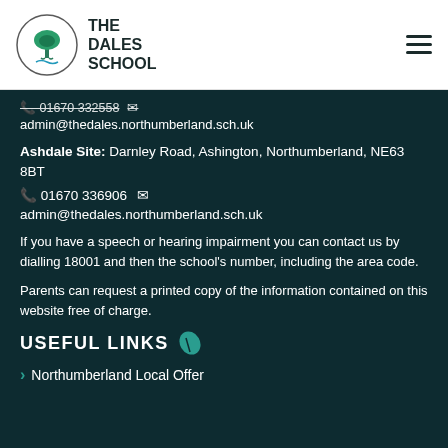The Dales School
01670 332558  admin@thedales.northumberland.sch.uk
Ashdale Site: Darnley Road, Ashington, Northumberland, NE63 8BT
01670 336906  admin@thedales.northumberland.sch.uk
If you have a speech or hearing impairment you can contact us by dialling 18001 and then the school's number, including the area code.
Parents can request a printed copy of the information contained on this website free of charge.
USEFUL LINKS
Northumberland Local Offer